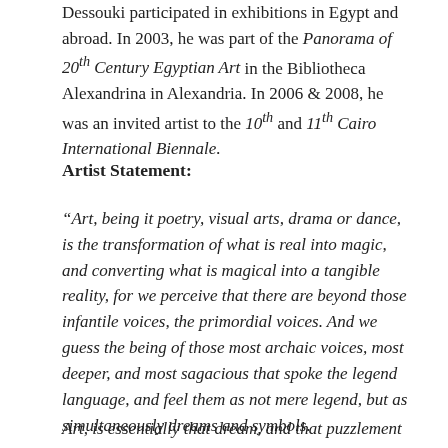Dessouki participated in exhibitions in Egypt and abroad. In 2003, he was part of the Panorama of 20th Century Egyptian Art in the Bibliotheca Alexandrina in Alexandria. In 2006 & 2008, he was an invited artist to the 10th and 11th Cairo International Biennale.
Artist Statement:
“Art, being it poetry, visual arts, drama or dance, is the transformation of what is real into magic, and converting what is magical into a tangible reality, for we perceive that there are beyond those infantile voices, the primordial voices. And we guess the being of those most archaic voices, most deeper, and most sagacious that spoke the legend language, and feel them as not mere legend, but as simultaneously dreams and symbols.
Art, is essentially that dream, and that puzzlement which